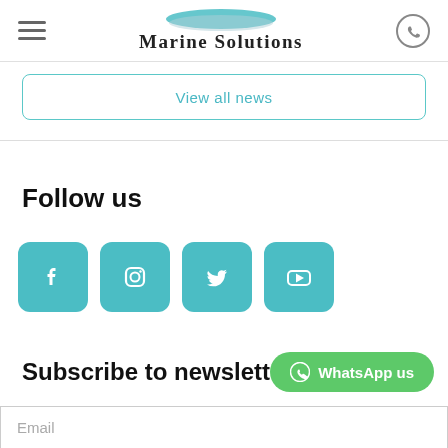Marine Solutions
View all news
Follow us
[Figure (infographic): Four social media icons in teal rounded squares: Facebook, Instagram, Twitter, YouTube]
Subscribe to newsletter
WhatsApp us
Email